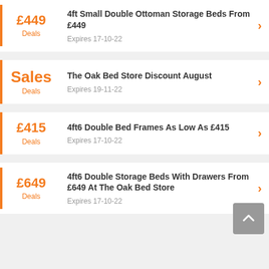£449 Deals - 4ft Small Double Ottoman Storage Beds From £449 - Expires 17-10-22
Sales Deals - The Oak Bed Store Discount August - Expires 19-11-22
£415 Deals - 4ft6 Double Bed Frames As Low As £415 - Expires 17-10-22
£649 Deals - 4ft6 Double Storage Beds With Drawers From £649 At The Oak Bed Store - Expires 17-10-22